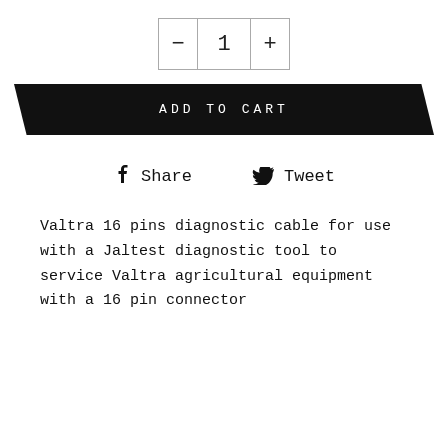[Figure (screenshot): Quantity selector with minus button, number 1, and plus button in bordered box]
ADD TO CART
Share   Tweet
Valtra 16 pins diagnostic cable for use with a Jaltest diagnostic tool to service Valtra agricultural equipment with a 16 pin connector